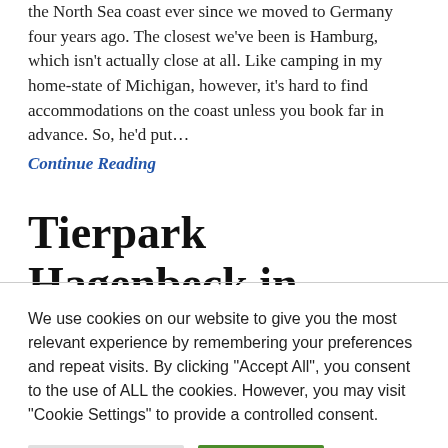the North Sea coast ever since we moved to Germany four years ago. The closest we've been is Hamburg, which isn't actually close at all. Like camping in my home-state of Michigan, however, it's hard to find accommodations on the coast unless you book far in advance. So, he'd put… Continue Reading
Tierpark Hagenbeck in
We use cookies on our website to give you the most relevant experience by remembering your preferences and repeat visits. By clicking "Accept All", you consent to the use of ALL the cookies. However, you may visit "Cookie Settings" to provide a controlled consent.